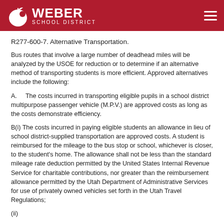Weber School District
R277-600-7. Alternative Transportation.
Bus routes that involve a large number of deadhead miles will be analyzed by the USOE for reduction or to determine if an alternative method of transporting students is more efficient. Approved alternatives include the following:
A.    The costs incurred in transporting eligible pupils in a school district multipurpose passenger vehicle (M.P.V.) are approved costs as long as the costs demonstrate efficiency.
B(i) The costs incurred in paying eligible students an allowance in lieu of school district-supplied transportation are approved costs. A student is reimbursed for the mileage to the bus stop or school, whichever is closer, to the student's home. The allowance shall not be less than the standard mileage rate deduction permitted by the United States Internal Revenue Service for charitable contributions, nor greater than the reimbursement allowance permitted by the Utah Department of Administrative Services for use of privately owned vehicles set forth in the Utah Travel Regulations;
(ii)...